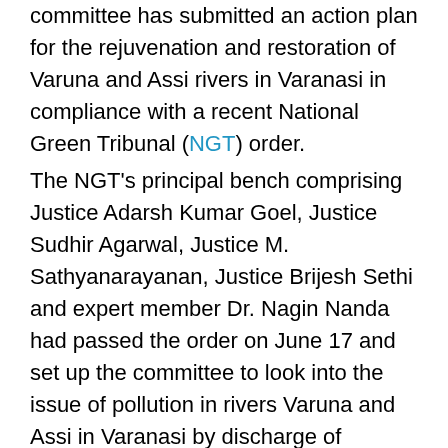committee has submitted an action plan for the rejuvenation and restoration of Varuna and Assi rivers in Varanasi in compliance with a recent National Green Tribunal (NGT) order.
The NGT's principal bench comprising Justice Adarsh Kumar Goel, Justice Sudhir Agarwal, Justice M. Sathyanarayanan, Justice Brijesh Sethi and expert member Dr. Nagin Nanda had passed the order on June 17 and set up the committee to look into the issue of pollution in rivers Varuna and Assi in Varanasi by discharge of untreated sewage and unauthorized constructions.
The issue was raised by a local advocate, Saurabh Tiwari. The committee included the officials from the Central Pollution Control Board (CPCB), Uttar Pradesh Pollution Control Board (UPPCB), National Mission for Clean Ganga (NMCG) and district magistrate of Varanasi.
The committee was for the preparation of a report that may